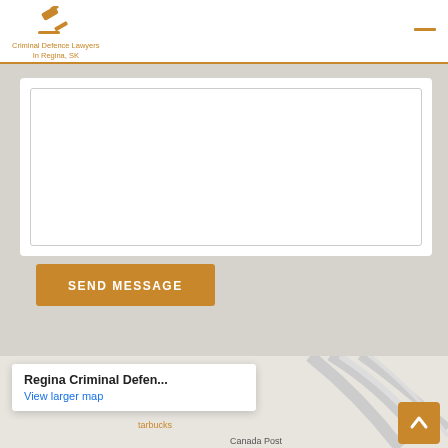[Figure (logo): Gavel icon logo for Criminal Defence Lawyers In Regina, SK]
Criminal Defence Lawyers
In Regina, SK
[Figure (screenshot): Text area input box (form field) for message composition]
SEND MESSAGE
[Figure (map): Google Map showing location of Regina Criminal Defen... with popup showing 'View larger map', map labels include Center Crossing, Starbucks, Canada Post]
Regina Criminal Defen...
View larger map
Center Crossing
tarbucks
Canada Post